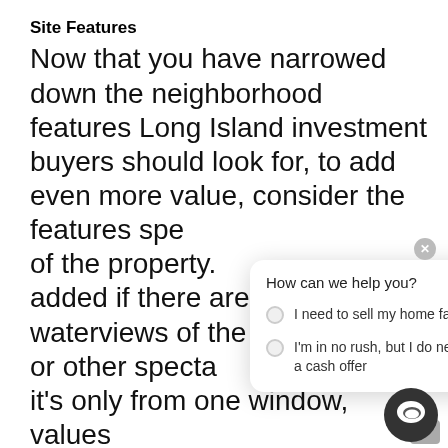Site Features
Now that you have narrowed down the neighborhood features Long Island investment buyers should look for, to add even more value, consider the features spe[cific to the site] of the property. [Value can be] added if there are views of the water or other specta[cular scenery even if] it's only from one window, values increase as land [near] based activities or within walking distance of desirable amenities, such as sporting facilities, entertainment,
[Figure (screenshot): Chat widget overlay with header 'How can we help you?' and two options: 'I need to sell my home fast' and 'I'm in no rush, but I do need a cash offer']